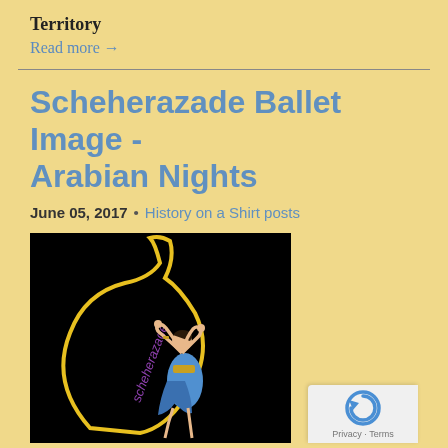Territory
Read more →
Scheherazade Ballet Image - Arabian Nights
June 05, 2017  •  History on a Shirt posts
[Figure (illustration): Scheherazade ballet illustration on black background showing a dancer in blue costume with text 'Scheherazade' in purple lettering and a yellow curved lamp/bottle shape]
[Figure (logo): Google reCAPTCHA badge with blue circular arrow icon and 'Privacy - Terms' text]